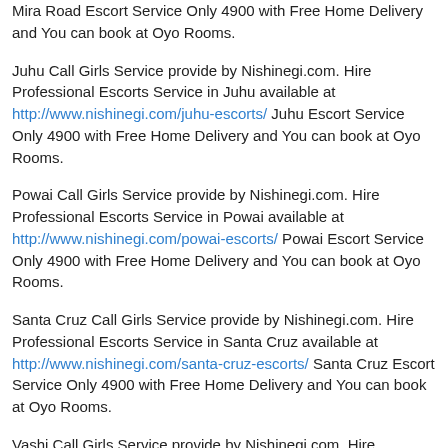Mira Road Escort Service Only 4900 with Free Home Delivery and You can book at Oyo Rooms.
Juhu Call Girls Service provide by Nishinegi.com. Hire Professional Escorts Service in Juhu available at http://www.nishinegi.com/juhu-escorts/ Juhu Escort Service Only 4900 with Free Home Delivery and You can book at Oyo Rooms.
Powai Call Girls Service provide by Nishinegi.com. Hire Professional Escorts Service in Powai available at http://www.nishinegi.com/powai-escorts/ Powai Escort Service Only 4900 with Free Home Delivery and You can book at Oyo Rooms.
Santa Cruz Call Girls Service provide by Nishinegi.com. Hire Professional Escorts Service in Santa Cruz available at http://www.nishinegi.com/santa-cruz-escorts/ Santa Cruz Escort Service Only 4900 with Free Home Delivery and You can book at Oyo Rooms.
Vashi Call Girls Service provide by Nishinegi.com. Hire Professional Escorts Service in Vashi available at